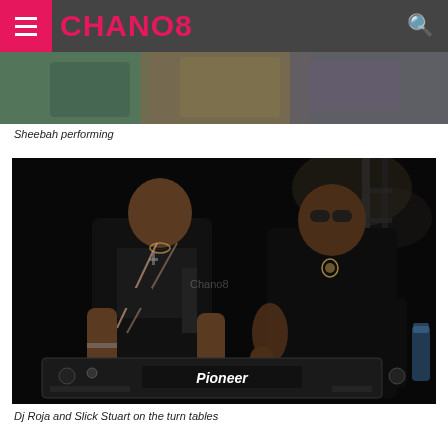CHANO8
[Figure (photo): Top portion of a photo showing what appears to be Sheebah performing on stage with colorful lighting]
Sheebah performing
[Figure (photo): DJ Roja and Slick Stuart at the DJ turntables (Pioneer). One man in a Mossimo t-shirt is working the decks while another man in sunglasses and a black outfit stands beside him gesturing.]
Dj Roja and Slick Stuart on the turn tables